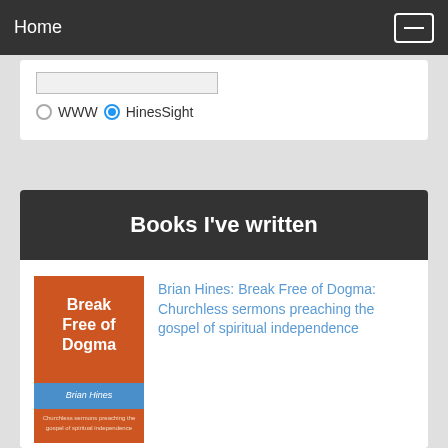Home
WWW  HinesSight (radio buttons)
Books I've written
Brian Hines: Break Free of Dogma: Churchless sermons preaching the gospel of spiritual independence
Brian Hines: Life is Fair: The Law of